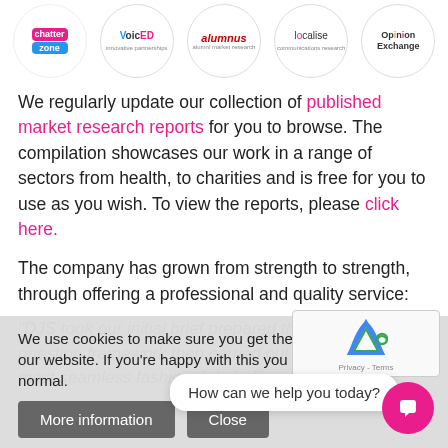[Figure (logo): Row of five partner/client logos in circles: Chatter Zone, VoicED, alumnus, localise, Opinion Exchange]
We regularly update our collection of published market research reports for you to browse. The compilation showcases our work in a range of sectors from health, to charities and is free for you to use as you wish. To view the reports, please click here.
The company has grown from strength to strength, through offering a professional and quality service:
"DJS took our initial brief prepared the proposal and question framework then carried out the job in the most seamless fashion. I do believ
We use cookies to make sure you get the best experience on our website. If you're happy with this you can use the site as normal.